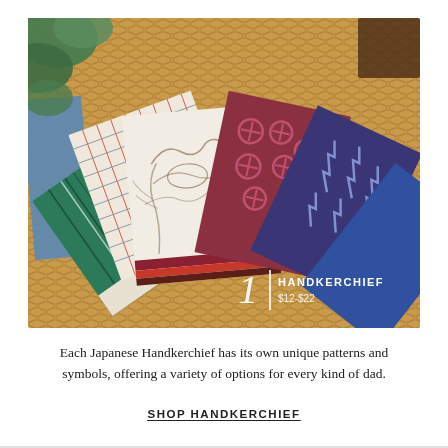[Figure (photo): A collection of folded Japanese handkerchiefs fanned out on a woven rattan surface. The handkerchiefs display various patterns: green stripes, red plaid/grid, cream with ink-drawn Japanese motifs (animals/nature scene), dark red with circular cross symbols, navy/purple with lightning bolt patterns, and solid blue. A green leafy plant is visible in the upper left. An overlay in the lower right shows '1 | HANDKERCHIEF $12-$22' in white text.]
Each Japanese Handkerchief has its own unique patterns and symbols, offering a variety of options for every kind of dad.
SHOP HANDKERCHIEF